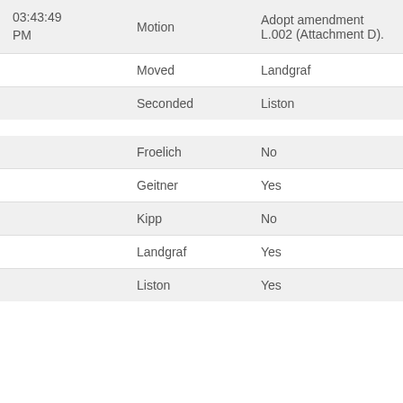| Time | Type | Detail |
| --- | --- | --- |
| 03:43:49 PM | Motion | Adopt amendment L.002 (Attachment D). |
|  | Moved | Landgraf |
|  | Seconded | Liston |
|  | Froelich | No |
|  | Geitner | Yes |
|  | Kipp | No |
|  | Landgraf | Yes |
|  | Liston | Yes |